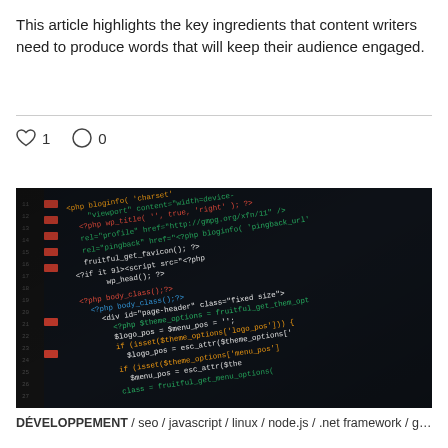This article highlights the key ingredients that content writers need to produce words that will keep their audience engaged.
[Figure (photo): A dark monitor screen displaying PHP/HTML code with colored syntax highlighting — green, yellow, pink, and teal text on a black background.]
DÉVELOPPEMENT / seo / javascript / linux / node.js / .net framework / gui...